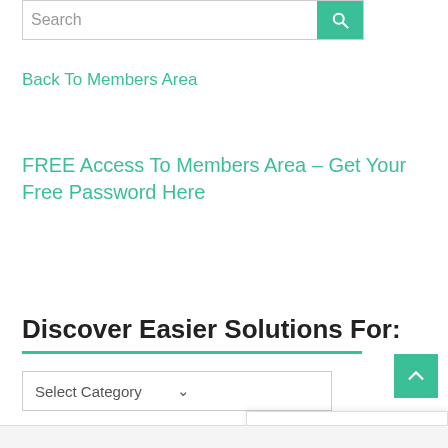[Figure (screenshot): Search bar with text input and teal search button with magnifying glass icon]
Back To Members Area
FREE Access To Members Area – Get Your Free Password Here
Discover Easier Solutions For:
[Figure (screenshot): Select Category dropdown widget]
[Figure (screenshot): Back to top button (teal with up arrow)]
Privacy & Cookies Policy